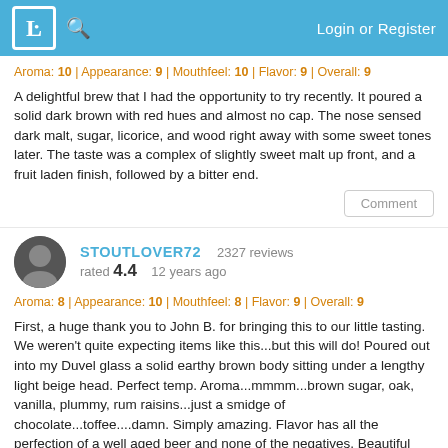B [logo] [search] Login or Register
Aroma: 10 | Appearance: 9 | Mouthfeel: 10 | Flavor: 9 | Overall: 9
A delightful brew that I had the opportunity to try recently. It poured a solid dark brown with red hues and almost no cap. The nose sensed dark malt, sugar, licorice, and wood right away with some sweet tones later. The taste was a complex of slightly sweet malt up front, and a fruit laden finish, followed by a bitter end.
Comment
STOUTLOVER72  2327 reviews  rated 4.4  12 years ago
Aroma: 8 | Appearance: 10 | Mouthfeel: 8 | Flavor: 9 | Overall: 9
First, a huge thank you to John B. for bringing this to our little tasting. We weren't quite expecting items like this...but this will do! Poured out into my Duvel glass a solid earthy brown body sitting under a lengthy light beige head. Perfect temp. Aroma...mmmm...brown sugar, oak, vanilla, plummy, rum raisins...just a smidge of chocolate...toffee....damn. Simply amazing. Flavor has all the perfection of a well aged beer and none of the negatives. Beautiful oak/vanilla, raisins, apples, toffee, dried fruits...just stunning.